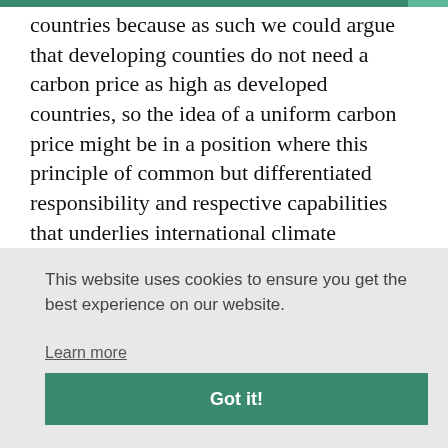countries because as such we could argue that developing counties do not need a carbon price as high as developed countries, so the idea of a uniform carbon price might be in a position where this principle of common but differentiated responsibility and respective capabilities that underlies international climate
This website uses cookies to ensure you get the best experience on our website.
Learn more
Got it!
change policy is in the absence of